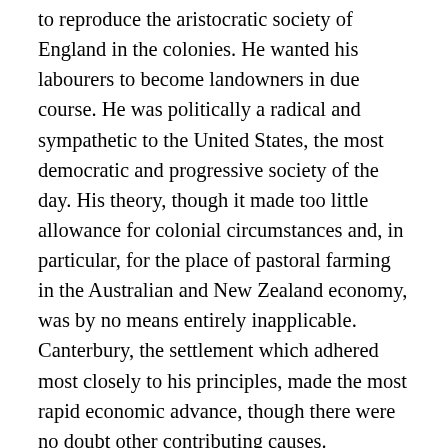to reproduce the aristocratic society of England in the colonies. He wanted his labourers to become landowners in due course. He was politically a radical and sympathetic to the United States, the most democratic and progressive society of the day. His theory, though it made too little allowance for colonial circumstances and, in particular, for the place of pastoral farming in the Australian and New Zealand economy, was by no means entirely inapplicable. Canterbury, the settlement which adhered most closely to his principles, made the most rapid economic advance, though there were no doubt other contributing causes. Wakefield did not care for detail and was not strong in administration; but he had marked political ability, though he was more effective in committee work and personal contacts than he could ever have been in public office. His love of power was almost pathological; more than once he sacrificed principle for power's sake. He was jealous of